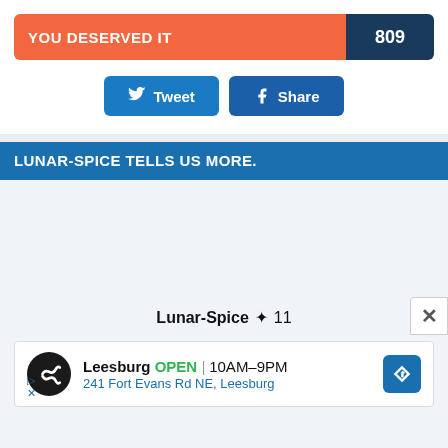[Figure (infographic): Score bar showing 'YOU DESERVED IT' label on orange background and score '809' on dark navy background]
[Figure (infographic): Tweet and Share social buttons]
LUNAR-SPICE TELLS US MORE.
Lunar-Spice ✦ 11
[Figure (infographic): Advertisement for Leesburg location showing logo, OPEN status, hours 10AM-9PM, address 241 Fort Evans Rd NE, Leesburg, navigation icon, play and close icons]